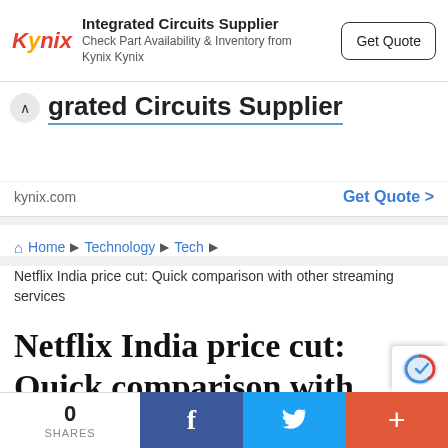[Figure (screenshot): Kynix advertisement banner: logo in red/orange italic, 'Integrated Circuits Supplier' heading, 'Check Part Availability & Inventory from Kynix Kynix' subtitle, 'Get Quote' button with rounded border]
[Figure (screenshot): Expanded ad section with chevron-up icon, 'grated Circuits Supplier' title with blue underline, domain 'kynix.com', and 'Get Quote >' link in blue]
Home ▶ Technology ▶ Tech ▶
Netflix India price cut: Quick comparison with other streaming services
Netflix India price cut: Quick comparison with other streaming
0 SHARES | f | 🐦 | +